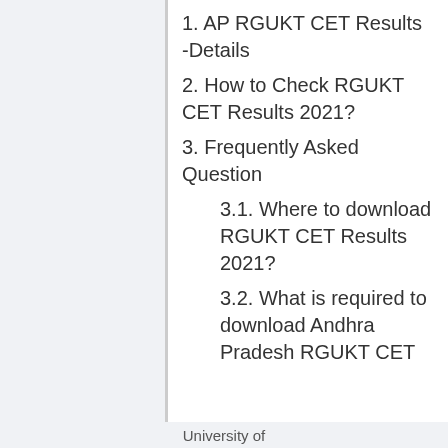1. AP RGUKT CET Results -Details
2. How to Check RGUKT CET Results 2021?
3. Frequently Asked Question
3.1. Where to download RGUKT CET Results 2021?
3.2. What is required to download Andhra Pradesh RGUKT CET
We use cookies on our website to give you the most relevant experience. By continuing to use the site, you agree to the use of cookies.
Decline
Accept
University of